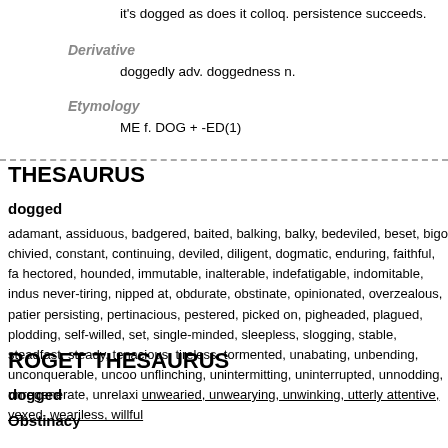it's dogged as does it colloq. persistence succeeds.
Derivative
doggedly adv. doggedness n.
Etymology
ME f. DOG + -ED(1)
THESAURUS
dogged
adamant, assiduous, badgered, baited, balking, balky, bedeviled, beset, bigo chivied, constant, continuing, deviled, diligent, dogmatic, enduring, faithful, fa hectored, hounded, immutable, inalterable, indefatigable, indomitable, indus never-tiring, nipped at, obdurate, obstinate, opinionated, overzealous, patier persisting, pertinacious, pestered, picked on, pigheaded, plagued, plodding, self-willed, set, single-minded, sleepless, slogging, stable, steadfast, steady, tenacious, tireless, tormented, unabating, unbending, unconquerable, uncoo unflinching, unintermitting, uninterrupted, unnodding, unregenerate, unrelaxi unwearied, unwearying, unwinking, utterly attentive, vexed, weariless, willful
ROGET THESAURUS
dogged
Obstinacy